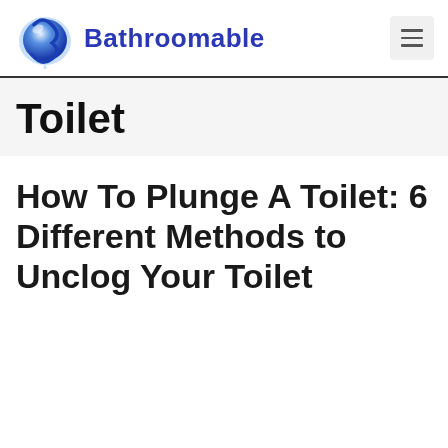Bathroomable
Toilet
How To Plunge A Toilet: 6 Different Methods to Unclog Your Toilet